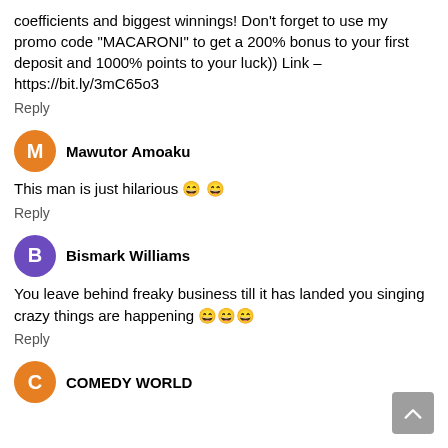coefficients and biggest winnings! Don't forget to use my promo code "MACARONI" to get a 200% bonus to your first deposit and 1000% points to your luck)) Link – https://bit.ly/3mC65o3
Reply
Mawutor Amoaku
This man is just hilarious 😂 😂
Reply
Bismark Williams
You leave behind freaky business till it has landed you singing crazy things are happening 😂😂😂
Reply
COMEDY WORLD